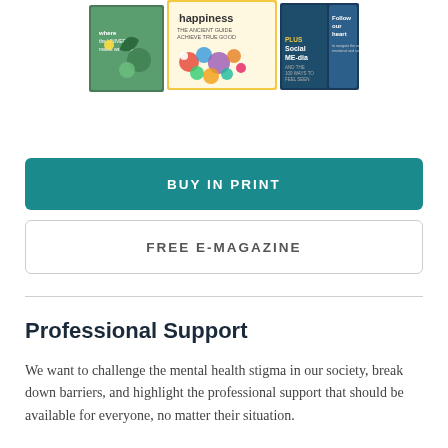[Figure (illustration): Magazine covers showing colourful mental health themed publications including titles about happiness, Social ME-dia, and Follow our heart]
BUY IN PRINT
FREE E-MAGAZINE
Professional Support
We want to challenge the mental health stigma in our society, break down barriers, and highlight the professional support that should be available for everyone, no matter their situation.